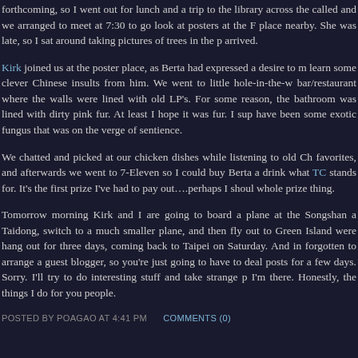forthcoming, so I went out for lunch and a trip to the library across the called and we arranged to meet at 7:30 to go look at posters at the F place nearby. She was late, so I sat around taking pictures of trees in the p arrived.
Kirk joined us at the poster place, as Berta had expressed a desire to m learn some clever Chinese insults from him. We went to little hole-in-the-w bar/restaurant where the walls were lined with old LP's. For some reason, the bathroom was lined with dirty pink fur. At least I hope it was fur. I sup have been some exotic fungus that was on the verge of sentience.
We chatted and picked at our chicken dishes while listening to old Ch favorites, and afterwards we went to 7-Eleven so I could buy Berta a drink what TC stands for. It's the first prize I've had to pay out….perhaps I shoul whole prize thing.
Tomorrow morning Kirk and I are going to board a plane at the Songshan a Taidong, switch to a much smaller plane, and then fly out to Green Island were hang out for three days, coming back to Taipei on Saturday. And in forgotten to arrange a guest blogger, so you're just going to have to deal posts for a few days. Sorry. I'll try to do interesting stuff and take strange p I'm there. Honestly, the things I do for you people.
POSTED BY POAGAO AT 4:41 PM     COMMENTS (0)